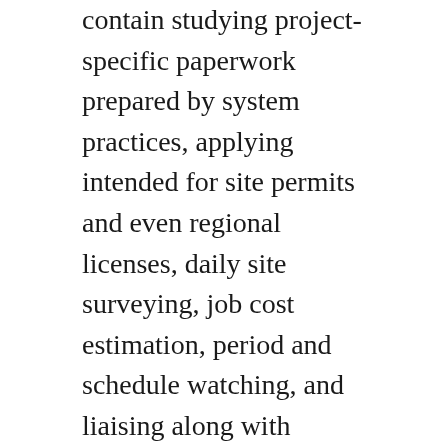contain studying project-specific paperwork prepared by system practices, applying intended for site permits and even regional licenses, daily site surveying, job cost estimation, period and schedule watching, and liaising along with multiple disciplines, containing of mechanical, electric powered and plumbing services specialists.
Since drafting services (main contractors) endure the ultimate risk for timely finalization of projects, that they appreciate greater predictability and on-time rendering. These factors are incredibly important for powerful and profitable construction of large projects. Needless to say, adding a fourth sizing of time scheduling to 3D BIM models can assist